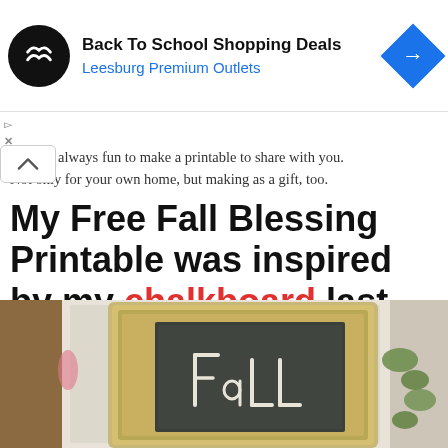[Figure (screenshot): Advertisement banner: Back To School Shopping Deals, Leesburg Premium Outlets, with circular black logo and blue diamond arrow icon]
always fun to make a printable to share with you. Not only for your own home, but making as a gift, too.
My Free Fall Blessing Printable was inspired by my chalkboard last year.
[Figure (photo): A decorative ornate white-painted picture frame with a chalkboard inside reading 'Fall', hung outdoors with greenery in the background.]